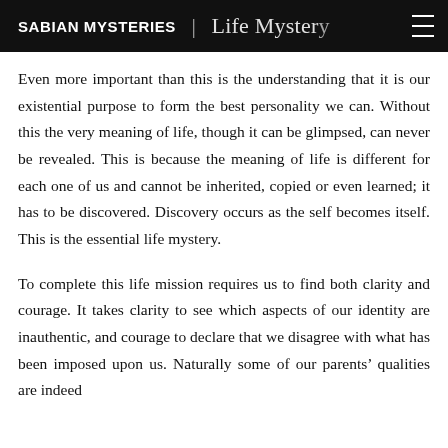SABIAN MYSTERIES | Life Mystery
Even more important than this is the understanding that it is our existential purpose to form the best personality we can. Without this the very meaning of life, though it can be glimpsed, can never be revealed. This is because the meaning of life is different for each one of us and cannot be inherited, copied or even learned; it has to be discovered. Discovery occurs as the self becomes itself. This is the essential life mystery.
To complete this life mission requires us to find both clarity and courage. It takes clarity to see which aspects of our identity are inauthentic, and courage to declare that we disagree with what has been imposed upon us. Naturally some of our parents' qualities are indeed